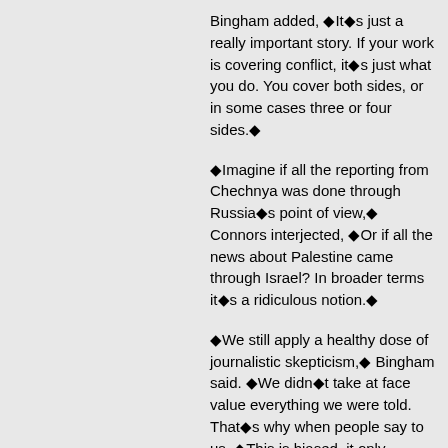Bingham added, ◆It◆s just a really important story. If your work is covering conflict, it◆s just what you do. You cover both sides, or in some cases three or four sides.◆
◆Imagine if all the reporting from Chechnya was done through Russia◆s point of view,◆ Connors interjected, ◆Or if all the news about Palestine came through Israel? In broader terms it◆s a ridiculous notion.◆
◆We still apply a healthy dose of journalistic skepticism,◆ Bingham said. ◆We didn◆t take at face value everything we were told. That◆s why when people say to us, ◆This is biased, it only presents one side,◆ we say yes, it does only present one side but it◆s as honest as we can get. Most of the time we◆re bombarded by one-sided coverage from the U.S. point of view.◆ Connors added, ◆Even including who from the other side gets quoted.◆
One example of how much difference perspective makes, Connors said, can be as simple as